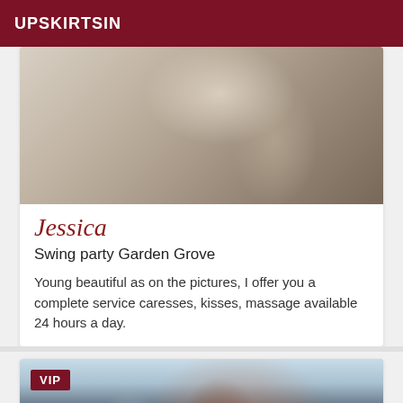UPSKIRTSIN
[Figure (photo): Close-up photo showing lower body in white lingerie/stockings]
Jessica
Swing party Garden Grove
Young beautiful as on the pictures, I offer you a complete service caresses, kisses, massage available 24 hours a day.
[Figure (photo): Woman in pink bikini top standing outdoors near a fence, VIP badge overlay]